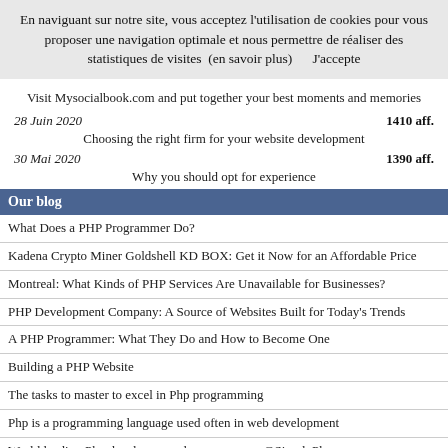En naviguant sur notre site, vous acceptez l'utilisation de cookies pour vous proposer une navigation optimale et nous permettre de réaliser des statistiques de visites  (en savoir plus)      J'accepte
Visit Mysocialbook.com and put together your best moments and memories
28 Juin 2020    1410 aff.
Choosing the right firm for your website development
30 Mai 2020    1390 aff.
Why you should opt for experience
Our blog
What Does a PHP Programmer Do?
Kadena Crypto Miner Goldshell KD BOX: Get it Now for an Affordable Price
Montreal: What Kinds of PHP Services Are Unavailable for Businesses?
PHP Development Company: A Source of Websites Built for Today's Trends
A PHP Programmer: What They Do and How to Become One
Building a PHP Website
The tasks to master to excel in Php programming
Php is a programming language used often in web development
World leading Php developers and programmers @SimplyPhp.com
Portfolio
How a good developer impacts your success